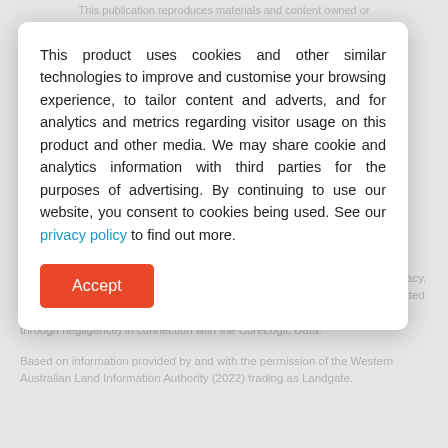This publication reproduces materials and content owned or
This product uses cookies and other similar technologies to improve and customise your browsing experience, to tailor content and adverts, and for analytics and metrics regarding visitor usage on this product and other media. We may share cookie and analytics information with third parties for the purposes of advertising. By continuing to use our website, you consent to cookies being used. See our privacy policy to find out more.
Accept
ensure the CoreLogic Data is current, CoreLogic does not warrant the accuracy, currency or completeness of the CoreLogic Data and to the full extent permitted by law excludes liability for any loss or damage howsoever arising (including through negligence) in connection with the CoreLogic Data.
Based on information provided by and with the permission of the Western Australian Land Information Authority (2022) trading as Landgate.